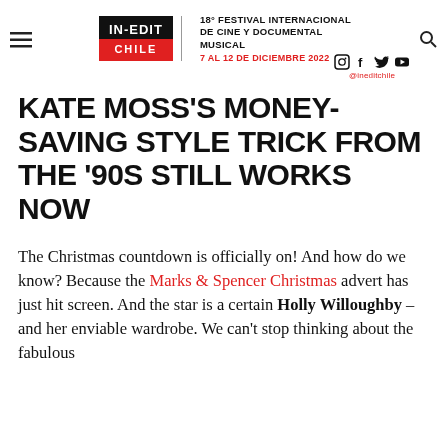[Figure (logo): IN-EDIT CHILE logo with black and red boxes, alongside text: 18° FESTIVAL INTERNACIONAL DE CINE Y DOCUMENTAL MUSICAL, 7 AL 12 DE DICIEMBRE 2022, with social media icons and @ineditchile handle]
KATE MOSS'S MONEY-SAVING STYLE TRICK FROM THE '90S STILL WORKS NOW
The Christmas countdown is officially on! And how do we know? Because the Marks & Spencer Christmas advert has just hit screen. And the star is a certain Holly Willoughby – and her enviable wardrobe. We can't stop thinking about the fabulous